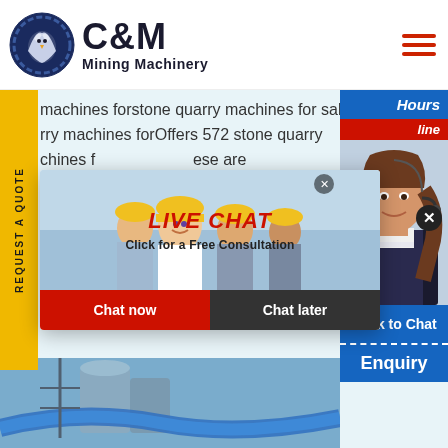[Figure (logo): C&M Mining Machinery logo with eagle in gear circle, dark navy blue]
C&M Mining Machinery
[Figure (illustration): Hamburger menu icon with three red horizontal lines]
machines forstone quarry machines for sale stone rry machines forOffers 572 stone quarry chines f ese are sher 15 d king ma chines f rry stone crusher for sale sand rry
[Figure (screenshot): Live chat popup with workers in hard hats, LIVE CHAT text in red, Click for a Free Consultation, Chat now and Chat later buttons]
[Figure (illustration): Right side chat widget showing Hours Online bar, female agent with headset photo, Click to Chat button, and Enquiry label]
[Figure (photo): Bottom strip showing industrial machinery and equipment photo]
REQUEST A QUOTE